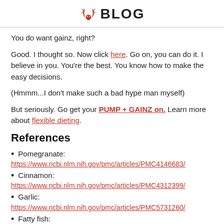BLOG
You do want gainz, right?
Good. I thought so. Now click here. Go on, you can do it. I believe in you. You're the best. You know how to make the easy decisions.
(Hmmm...I don't make such a bad hype man myself)
But seriously. Go get your PUMP + GAINZ on. Learn more about flexible dieting.
References
Pomegranate:
https://www.ncbi.nlm.nih.gov/pmc/articles/PMC4146683/
Cinnamon:
https://www.ncbi.nlm.nih.gov/pmc/articles/PMC4312399/
Garlic:
https://www.ncbi.nlm.nih.gov/pmc/articles/PMC5731260/
Fatty fish: